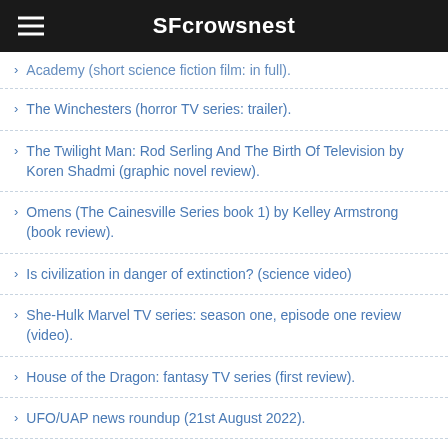SFcrowsnest
Academy (short science fiction film: in full).
The Winchesters (horror TV series: trailer).
The Twilight Man: Rod Serling And The Birth Of Television by Koren Shadmi (graphic novel review).
Omens (The Cainesville Series book 1) by Kelley Armstrong (book review).
Is civilization in danger of extinction? (science video)
She-Hulk Marvel TV series: season one, episode one review (video).
House of the Dragon: fantasy TV series (first review).
UFO/UAP news roundup (21st August 2022).
Time wars? Bring it on! (science video)
Jack In The Green by Charles de Lint (book review).
The Background of the First Dungeons & Dragons (video).
Wednesday Addams (trailer for this comedy horror TV series: Netflix).
Immersive Story Telling For Real And Imagined Worlds by Margaret